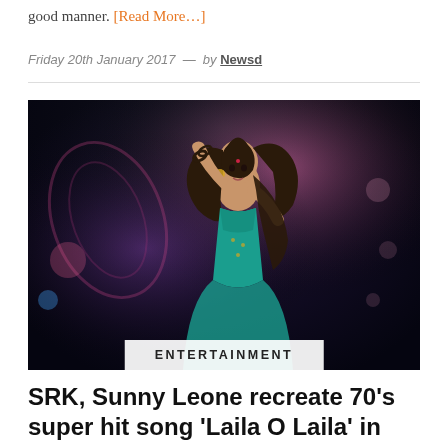good manner. [Read More…]
Friday 20th January 2017 — by Newsd
[Figure (photo): Woman in teal/blue Indian attire and jewelry, dancing on a colorful stage with pink and purple lighting. An 'ENTERTAINMENT' label is overlaid at the bottom of the image.]
SRK, Sunny Leone recreate 70's super hit song 'Laila O Laila' in